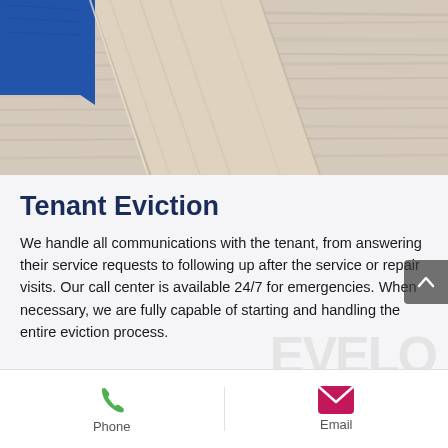[Figure (photo): Close-up photo of wood panels with blue book corner, showing wood grain texture in beige/tan tones]
Tenant Eviction
We handle all communications with the tenant, from answering their service requests to following up after the service or repair visits. Our call center is available 24/7 for emergencies. When necessary, we are fully capable of starting and handling the entire eviction process.
[Figure (infographic): Footer bar with Phone icon (green phone handset) and Email icon (pink/magenta envelope) with labels Phone and Email]